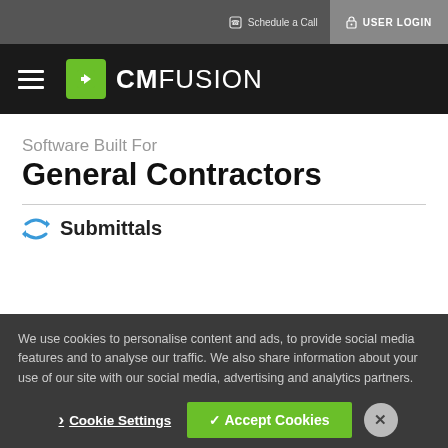Schedule a Call | USER LOGIN
[Figure (logo): CMFusion logo — green box with white arrow icon, white text 'CMFUSION' with hamburger menu icon]
Software Built For
General Contractors
Submittals
We use cookies to personalise content and ads, to provide social media features and to analyse our traffic. We also share information about your use of our site with our social media, advertising and analytics partners.
Cookie Settings | ✓ Accept Cookies